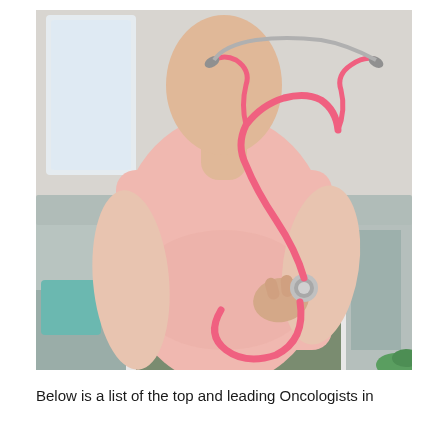[Figure (photo): A person wearing a pink t-shirt and olive/grey trousers sitting on a sofa, holding a pink stethoscope against their chest. The stethoscope tubing is pink and loops around the front of the body. The person's face is not visible. Background shows a light room with a cushion.]
Below is a list of the top and leading Oncologists in